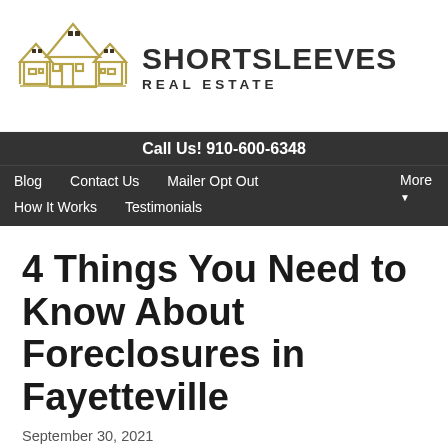[Figure (logo): Shortsleeves Real Estate logo with three house outlines in gold/olive color and company name]
Call Us! 910-600-6348
Blog
Contact Us
Mailer Opt Out
More
How It Works
Testimonials
4 Things You Need to Know About Foreclosures in Fayetteville
September 30, 2021